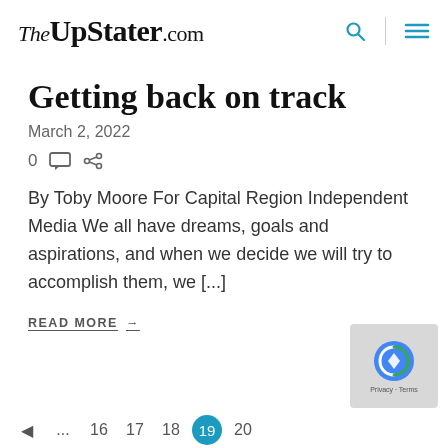TheUpStater.com
Getting back on track
March 2, 2022
0
By Toby Moore For Capital Region Independent Media We all have dreams, goals and aspirations, and when we decide we will try to accomplish them, we [...]
READ MORE →